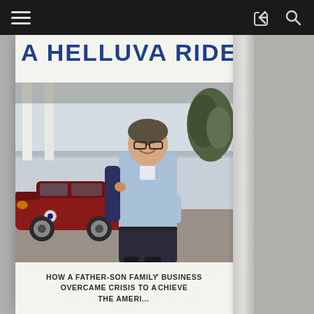[Figure (screenshot): Mobile app screenshot showing a book cover for 'A Helluva Ride: How a Father-Son Family Business Overcame Crisis to Achieve the American Dream'. The cover features a smiling man in a light blue shirt standing in front of a red Alfa Romeo car, with a navigation bar at the top containing hamburger menu, share, and search icons.]
A HELLUVA RIDE
HOW A FATHER-SON FAMILY BUSINESS OVERCAME CRISIS TO ACHIEVE THE AMERI...